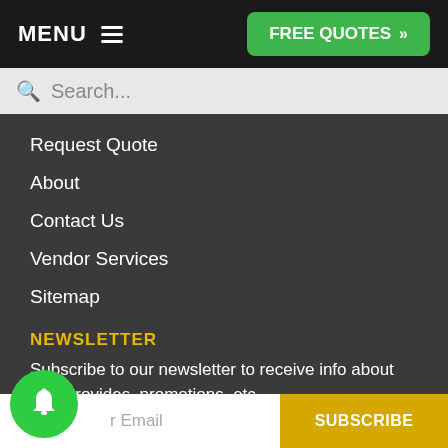MENU  FREE QUOTES »
Search...
Request Quote
About
Contact Us
Vendor Services
Sitemap
NEWSLETTER
Subscribe to our newsletter to receive info about new provides, promotions, etc.
(No more than 2 emails per month)
Your Email  SUBSCRIBE